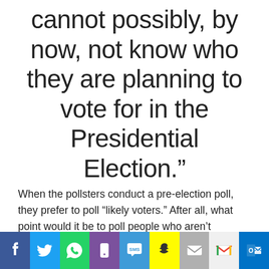cannot possibly, by now, not know who they are planning to vote for in the Presidential Election."
When the pollsters conduct a pre-election poll, they prefer to poll “likely voters.” After all, what point would it be to poll people who aren’t planning to vote? But to do so, they have to select a representative sample of voters from the population. Typically the pollsters will try to
[Figure (infographic): Social media share bar with icons: Facebook (blue), Twitter (light blue), WhatsApp (green), Phone/Viber (purple), SMS (blue), Snapchat (yellow), Email (grey), Gmail (light grey), Outlook (dark blue)]